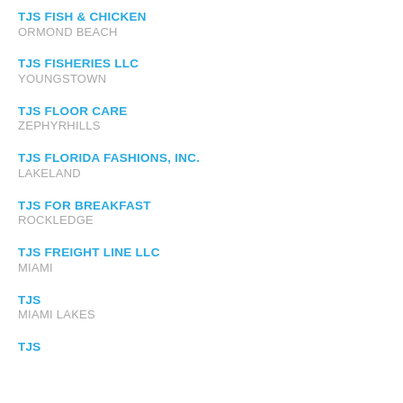TJS FISH & CHICKEN
ORMOND BEACH
TJS FISHERIES LLC
YOUNGSTOWN
TJS FLOOR CARE
ZEPHYRHILLS
TJS FLORIDA FASHIONS, INC.
LAKELAND
TJS FOR BREAKFAST
ROCKLEDGE
TJS FREIGHT LINE LLC
MIAMI
TJS
MIAMI LAKES
TJS